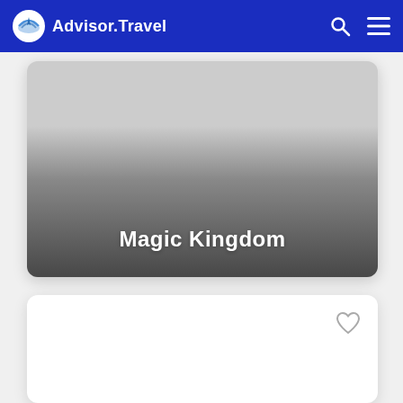Advisor.Travel
[Figure (photo): Card with gradient overlay showing 'Magic Kingdom' text at bottom, white card with rounded corners]
Magic Kingdom
[Figure (photo): White card with rounded corners and a heart/favorite icon in top right corner]